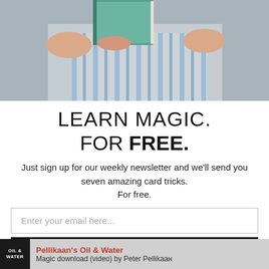[Figure (photo): Person in blue striped shirt holding a book, covering their face with it. Gray background.]
LEARN MAGIC.
FOR FREE.
Just sign up for our weekly newsletter and we'll send you seven amazing card tricks. For free.
Enter your email here...
SIGN UP
Pellikaan's Oil & Water
Magic download (video) by Peter Pellikaan